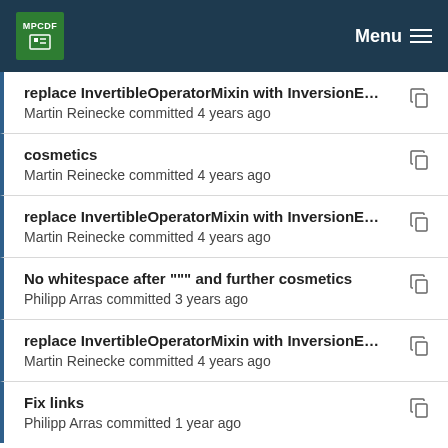MPCDF Menu
replace InvertibleOperatorMixin with InversionEna...
Martin Reinecke committed 4 years ago
cosmetics
Martin Reinecke committed 4 years ago
replace InvertibleOperatorMixin with InversionEna...
Martin Reinecke committed 4 years ago
No whitespace after """ and further cosmetics
Philipp Arras committed 3 years ago
replace InvertibleOperatorMixin with InversionEna...
Martin Reinecke committed 4 years ago
Fix links
Philipp Arras committed 1 year ago